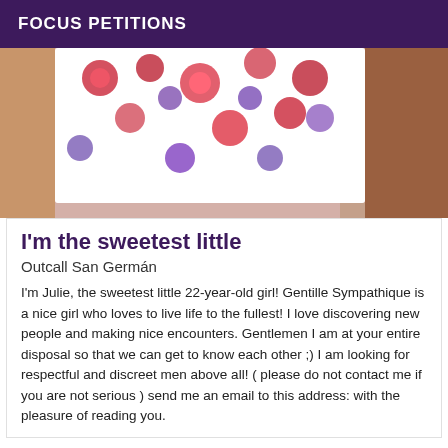FOCUS PETITIONS
[Figure (photo): Close-up photo showing a floral patterned fabric (red and purple flowers on white/light background) against a skin-toned background, appearing to be clothing worn by a person]
I'm the sweetest little
Outcall San Germán
I'm Julie, the sweetest little 22-year-old girl! Gentille Sympathique is a nice girl who loves to live life to the fullest! I love discovering new people and making nice encounters. Gentlemen I am at your entire disposal so that we can get to know each other ;) I am looking for respectful and discreet men above all! ( please do not contact me if you are not serious ) send me an email to this address: with the pleasure of reading you.